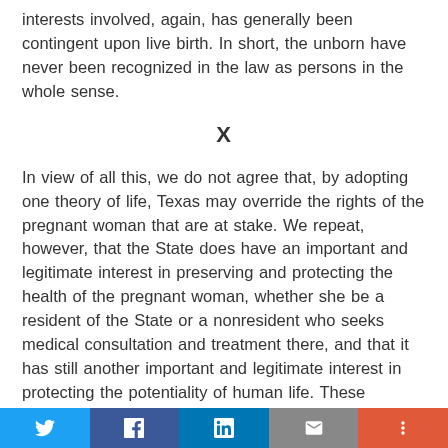interests involved, again, has generally been contingent upon live birth. In short, the unborn have never been recognized in the law as persons in the whole sense.
X
In view of all this, we do not agree that, by adopting one theory of life, Texas may override the rights of the pregnant woman that are at stake. We repeat, however, that the State does have an important and legitimate interest in preserving and protecting the health of the pregnant woman, whether she be a resident of the State or a nonresident who seeks medical consultation and treatment there, and that it has still another important and legitimate interest in protecting the potentiality of human life. These interests are separate and distinct. Each grows in substantiality as the woman approaches [410 U.S. 113, 163]  term and, at a point during
Twitter | Facebook | LinkedIn | Email | More